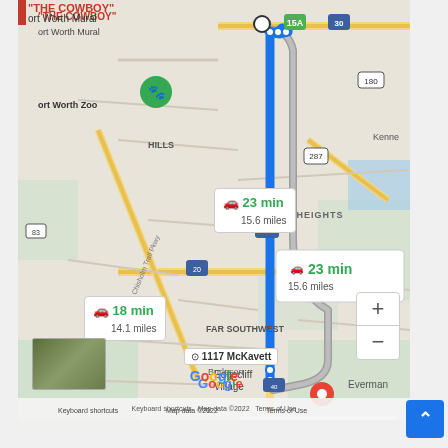[Figure (map): Google Maps screenshot showing driving directions from 'THE COWBOY Fort Worth Mural' near Fort Worth Zoo to 1117 McKavett. Two route options shown: 18 min / 14.1 miles (blue highlighted route going south on I-35W) and 23 min / 15.6 miles (gray alternate route). Map shows Fort Worth area including Worth Heights, Edgecliff Village, Far Southwest, Everman, Crowley, Burleson areas. Interstate highways 35W, 20, 30, 287, 180 visible. Red destination pin at 1117 McKavett. Google logo and map attribution at bottom.]